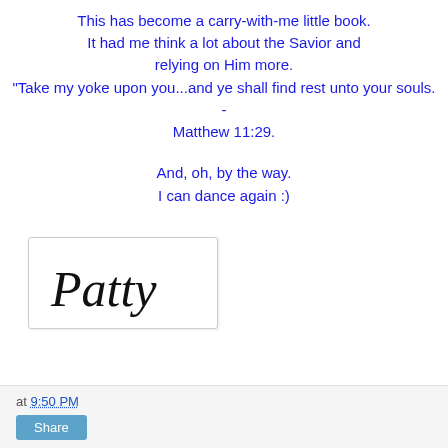This has become a carry-with-me little book.
It had me think a lot about the Savior and
relying on Him more.
"Take my yoke upon you...and ye shall find rest unto your souls. - Matthew 11:29.
And, oh, by the way.
I can dance again :)
[Figure (other): Handwritten cursive signature reading 'Patty' in black ink on a white card with a light border]
at 9:50 PM  Share